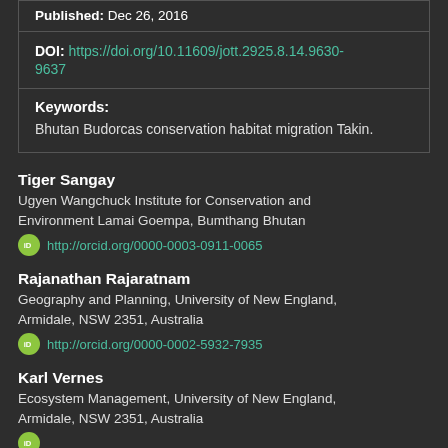Published: Dec 26, 2016
DOI: https://doi.org/10.11609/jott.2925.8.14.9630-9637
Keywords: Bhutan Budorcas conservation habitat migration Takin.
Tiger Sangay
Ugyen Wangchuck Institute for Conservation and Environment Lamai Goempa, Bumthang Bhutan
http://orcid.org/0000-0003-0911-0065
Rajanathan Rajaratnam
Geography and Planning, University of New England, Armidale, NSW 2351, Australia
http://orcid.org/0000-0002-5932-7935
Karl Vernes
Ecosystem Management, University of New England, Armidale, NSW 2351, Australia